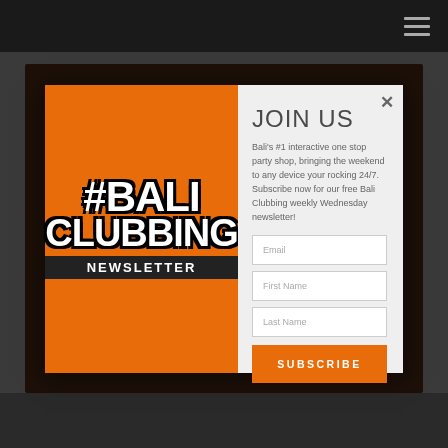[Figure (screenshot): Website screenshot with dark background, navigation bar at top right with hamburger menu icon]
[Figure (screenshot): Modal popup with orange left panel showing #BALI CLUBBING NEWSLETTER logo text and white right panel with JOIN US newsletter signup form containing Email, First Name, Last Name fields and SUBSCRIBE button]